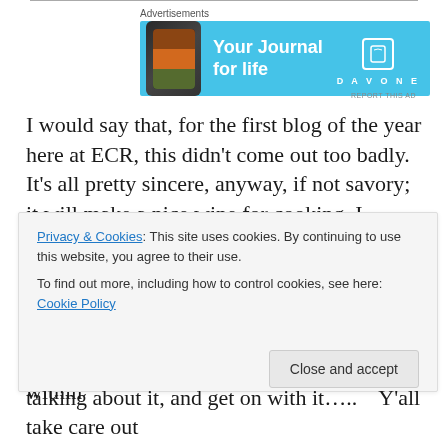[Figure (illustration): Advertisement banner for Day One journal app with blue background, phone graphic, text 'Your Journal for life', and Day One logo]
I would say that, for the first blog of the year here at ECR, this didn't come out too badly. It's all pretty sincere, anyway, if not savory; it will make a nice wine for cooking, I think….. Now that we have established the tone for another year, I think I'll go find a place to post this. That may be a chore of some magnitude, as the buses aren't running at all today, so I have to find a Wi-fi spot within
Privacy & Cookies: This site uses cookies. By continuing to use this website, you agree to their use.
To find out more, including how to control cookies, see here: Cookie Policy
talking about it, and get on with it…..   Y'all take care out